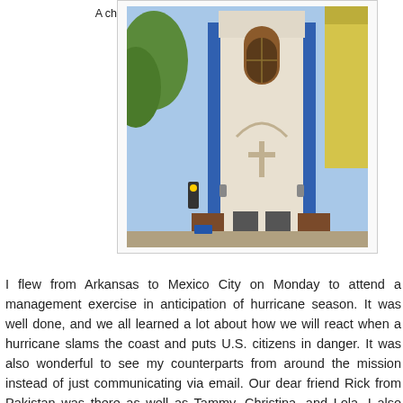[Figure (photo): A white church building with blue vertical stripes, an arched brown window at the top, a cross on the facade, and surrounding urban buildings visible on sides.]
A church near the Embassy in Mexico City, surrounded by high rises.
I flew from Arkansas to Mexico City on Monday to attend a management exercise in anticipation of hurricane season. It was well done, and we all learned a lot about how we will react when a hurricane slams the coast and puts U.S. citizens in danger. It was also wonderful to see my counterparts from around the mission instead of just communicating via email. Our dear friend Rick from Pakistan was there as well as Tammy, Christina, and Lola. I also was happy to finally meet Rick's wife, Claire, at dinner Monday night.